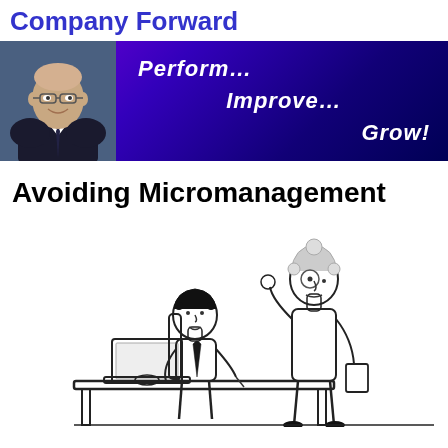Company Forward
[Figure (infographic): Banner with man's headshot photo on left and italic text 'Perform... Improve... Grow!' on purple-blue gradient background]
Avoiding Micromanagement
[Figure (illustration): Line-art cartoon of a boss sitting at a desk with a laptop and an employee standing beside the desk looking at the boss]